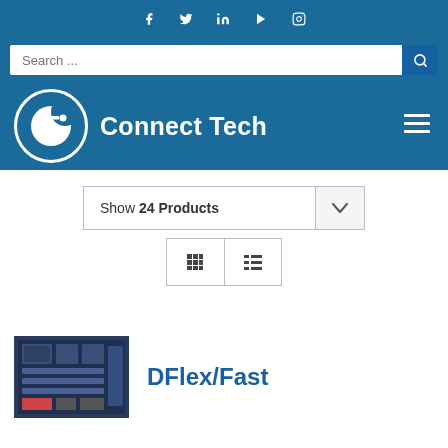Social media icons: Facebook, Twitter, LinkedIn, YouTube, Instagram
Search ...
[Figure (logo): Connect Tech logo with CTI letters in a circle followed by 'Connect Tech' text in white on blue background]
Show 24 Products
[Figure (screenshot): View toggle buttons: grid view and list view]
[Figure (photo): DFlex/Fast circuit board product image]
DFlex/Fast